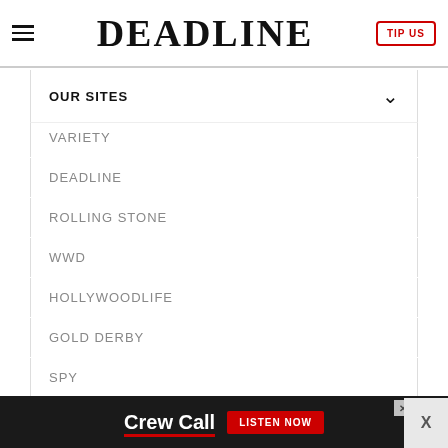DEADLINE
OUR SITES
VARIETY
DEADLINE
ROLLING STONE
WWD
HOLLYWOODLIFE
GOLD DERBY
SPY
ROBB REPORT
[Figure (screenshot): Advertisement banner for Crew Call podcast with 'LISTEN NOW' button]